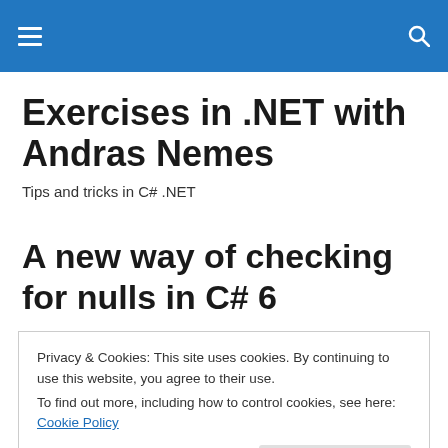Navigation header with hamburger menu and search icon
Exercises in .NET with Andras Nemes
Tips and tricks in C# .NET
A new way of checking for nulls in C# 6
Privacy & Cookies: This site uses cookies. By continuing to use this website, you agree to their use.
To find out more, including how to control cookies, see here: Cookie Policy
Close and accept